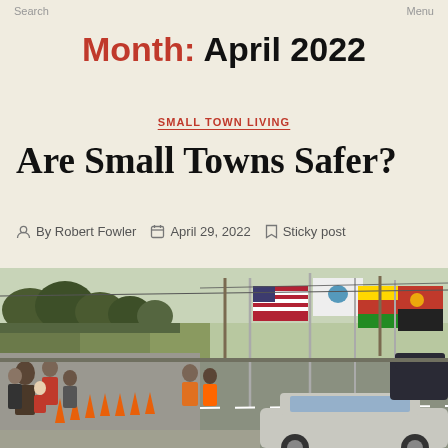Search   Menu
Month: April 2022
SMALL TOWN LIVING
Are Small Towns Safer?
By Robert Fowler   April 29, 2022   Sticky post
[Figure (photo): A small town street parade scene with people gathering along the road, flags including the American flag and other colorful flags being carried, orange traffic cones lining the street, trees in the background, and a car in the foreground.]